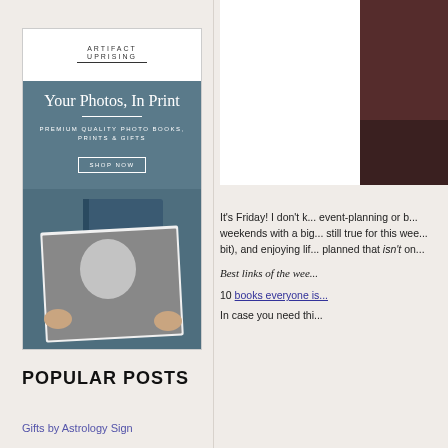[Figure (advertisement): Artifact Uprising advertisement showing a photo book with a child's photo. Text reads: ARTIFACT UPRISING, Your Photos, In Print, PREMIUM QUALITY PHOTO BOOKS, PRINTS & GIFTS, SHOP NOW]
POPULAR POSTS
Gifts by Astrology Sign
[Figure (photo): Right side top image — partial view of a person with brown leather background, mostly obscured]
It's Friday!  I don't k... event-planning or b... weekends with a big... still true for this wee... bit), and enjoying lif... planned that isn't on...
Best links of the wee...
10 books everyone is...
In case you need thi...